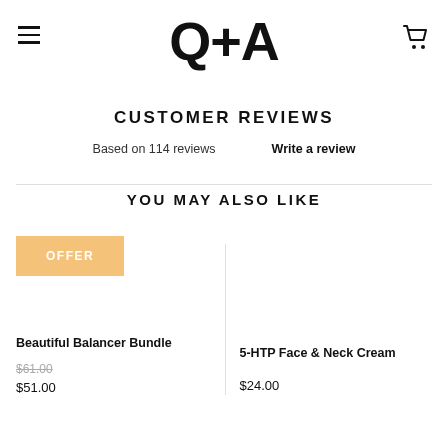Q+A
CUSTOMER REVIEWS
Based on 114 reviews
Write a review
YOU MAY ALSO LIKE
OFFER
Beautiful Balancer Bundle
$61.00
$51.00
5-HTP Face & Neck Cream
$24.00